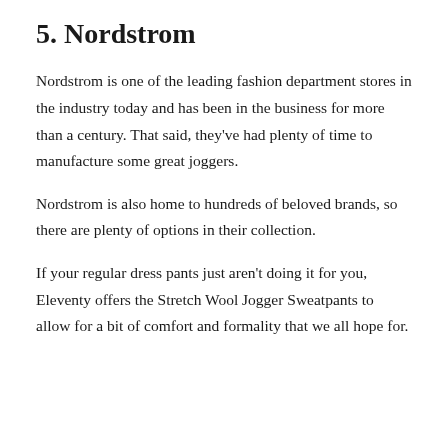5. Nordstrom
Nordstrom is one of the leading fashion department stores in the industry today and has been in the business for more than a century. That said, they've had plenty of time to manufacture some great joggers.
Nordstrom is also home to hundreds of beloved brands, so there are plenty of options in their collection.
If your regular dress pants just aren't doing it for you, Eleventy offers the Stretch Wool Jogger Sweatpants to allow for a bit of comfort and formality that we all hope for.